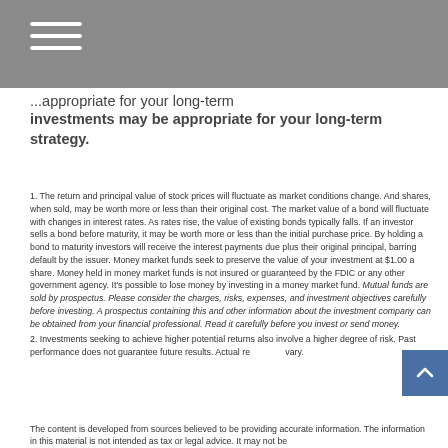investments may be appropriate for your long-term strategy.
1. The return and principal value of stock prices will fluctuate as market conditions change. And shares, when sold, may be worth more or less than their original cost. The market value of a bond will fluctuate with changes in interest rates. As rates rise, the value of existing bonds typically falls. If an investor sells a bond before maturity, it may be worth more or less than the initial purchase price. By holding a bond to maturity investors will receive the interest payments due plus their original principal, barring default by the issuer. Money market funds seek to preserve the value of your investment at $1.00 a share. Money held in money market funds is not insured or guaranteed by the FDIC or any other government agency. It's possible to lose money by investing in a money market fund. Mutual funds are sold by prospectus. Please consider the charges, risks, expenses, and investment objectives carefully before investing. A prospectus containing this and other information about the investment company can be obtained from your financial professional. Read it carefully before you invest or send money.
2. Investments seeking to achieve higher potential returns also involve a higher degree of risk. Past performance does not guarantee future results. Actual results will vary.
The content is developed from sources believed to be providing accurate information. The information in this material is not intended as tax or legal advice. It may not be